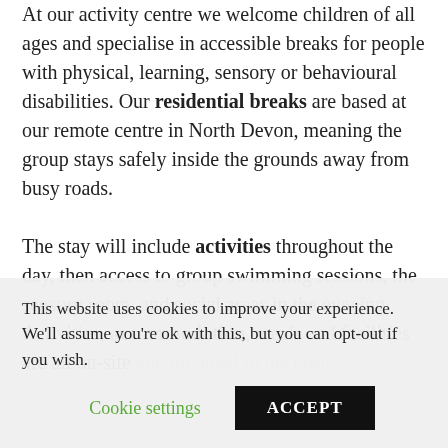At our activity centre we welcome children of all ages and specialise in accessible breaks for people with physical, learning, sensory or behavioural disabilities. Our residential breaks are based at our remote centre in North Devon, meaning the group stays safely inside the grounds away from busy roads.

The stay will include activities throughout the day, then access to group swimming sessions, the sensory room, and social areas in the evening. Activities, accommodation, meals and facilities are all on-site and included in the costs.
This website uses cookies to improve your experience. We'll assume you're ok with this, but you can opt-out if you wish.